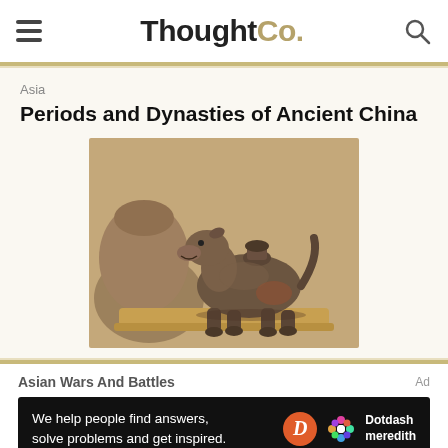ThoughtCo.
Asia
Periods and Dynasties of Ancient China
[Figure (photo): Ancient Chinese ceramic animal-shaped vessel (dog or pig figure) on a wooden stand, displayed in a museum setting]
Asian Wars And Battles
We help people find answers, solve problems and get inspired. Dotdash meredith